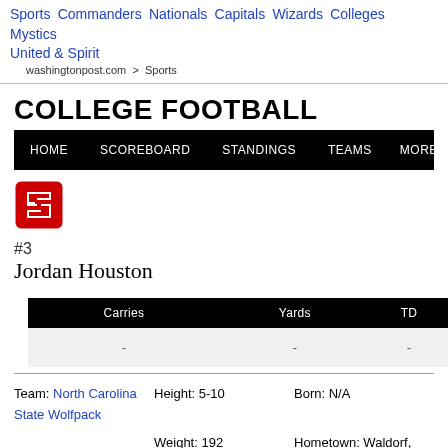Sports Commanders Nationals Capitals Wizards Colleges Mystics United & Spirit | washingtonpost.com > Sports
COLLEGE FOOTBALL
[Figure (logo): NC State Wolfpack logo — red 'S' block letter]
#3
Jordan Houston
| Carries | Yards | TD |
| --- | --- | --- |
| - | - | - |
Team: North Carolina State Wolfpack | Height: 5-10 | Born: N/A
Position: RB | Weight: 192 | Hometown: Waldorf, Maryland